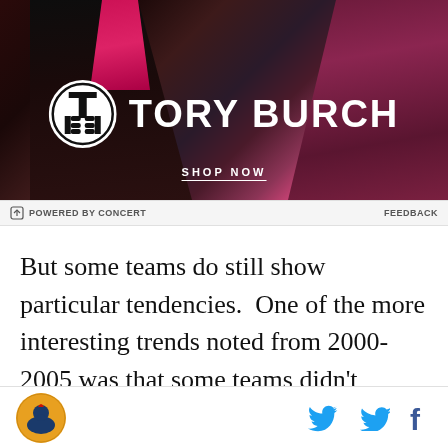[Figure (photo): Tory Burch advertisement banner with dark fabric background, magenta accent, and white Tory Burch logo with SHOP NOW text]
POWERED BY CONCERT    FEEDBACK
But some teams do still show particular tendencies.  One of the more interesting trends noted from 2000-2005 was that some teams didn't choose a single
[Figure (logo): Site logo - circular horse/athlete icon, and social media icons for Twitter and Facebook]